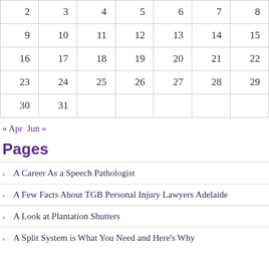| 2 | 3 | 4 | 5 | 6 | 7 | 8 |
| 9 | 10 | 11 | 12 | 13 | 14 | 15 |
| 16 | 17 | 18 | 19 | 20 | 21 | 22 |
| 23 | 24 | 25 | 26 | 27 | 28 | 29 |
| 30 | 31 |  |  |  |  |  |
« Apr  Jun »
Pages
A Career As a Speech Pathologist
A Few Facts About TGB Personal Injury Lawyers Adelaide
A Look at Plantation Shutters
A Split System is What You Need and Here's Why